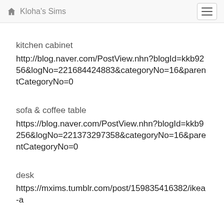Kloha's Sims
kitchen cabinet
http://blog.naver.com/PostView.nhn?blogId=kkb9256&logNo=221684424883&categoryNo=16&parentCategoryNo=0
sofa & coffee table
https://blog.naver.com/PostView.nhn?blogId=kkb9256&logNo=221373297358&categoryNo=16&parentCategoryNo=0
desk
https://mxims.tumblr.com/post/159835416382/ikea-a